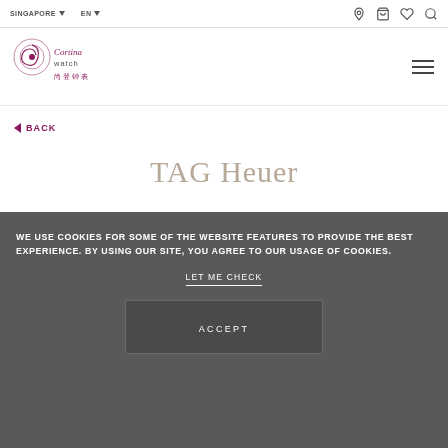SINGAPORE ▼   EN ▼
[Figure (logo): Cortina Watch logo with circular emblem and Chinese characters 尚登钟表]
◄ BACK
TAG Heuer
WE USE COOKIES FOR SOME OF THE WEBSITE FEATURES TO PROVIDE THE BEST EXPERIENCE. BY USING OUR SITE, YOU AGREE TO OUR USAGE OF COOKIES.
LET ME CHECK
ACCEPT